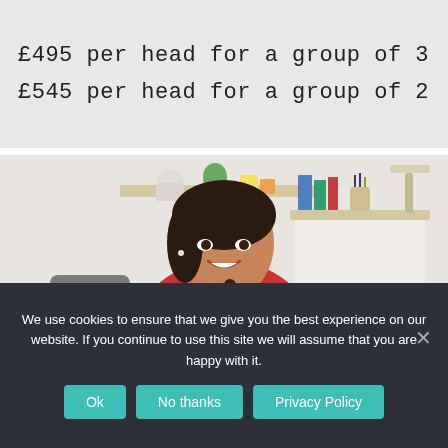£495 per head for a group of 3
£545 per head for a group of 2
[Figure (photo): Young woman with dark braided hair, wearing a red sleeveless top and necklace, smiling while sitting at a desk in an office/home environment. Shelves with books and office supplies visible in background.]
We use cookies to ensure that we give you the best experience on our website. If you continue to use this site we will assume that you are happy with it.
Ok   No thanks   Privacy Policy